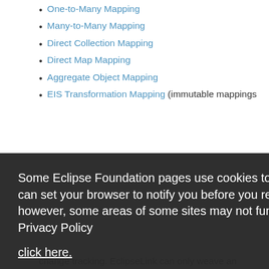One-to-Many Mapping
Many-to-Many Mapping
Direct Collection Mapping
Direct Map Mapping
Aggregate Object Mapping
EIS Transformation Mapping (immutable mappings
Some Eclipse Foundation pages use cookies to better serve you when you return to the site. You can set your browser to notify you before you receive a cookie or turn off cookies. If you do so, however, some areas of some sites may not function properly. To read Eclipse Foundation Privacy Policy click here.
change tracking. EclipseLink can only weave an